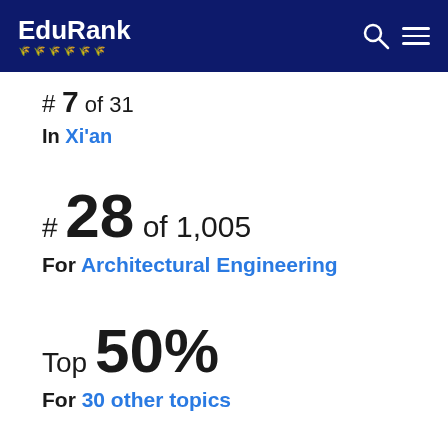EduRank
#7 of 31 In Xi'an
#28 of 1,005 For Architectural Engineering
Top 50% For 30 other topics